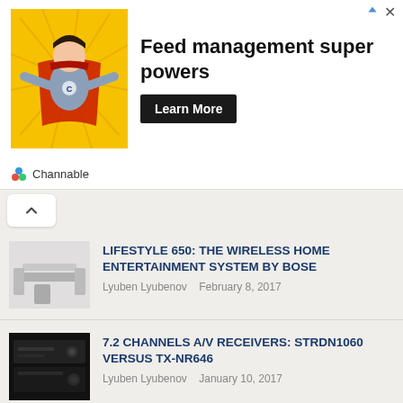[Figure (photo): Advertisement banner: Channable feed management super powers with superhero image and Learn More button]
LIFESTYLE 650: THE WIRELESS HOME ENTERTAINMENT SYSTEM BY BOSE — Lyuben Lyubenov, February 8, 2017
7.2 CHANNELS A/V RECEIVERS: STRDN1060 VERSUS TX-NR646 — Lyuben Lyubenov, January 10, 2017
THE ICONIC Z SERIES SOUND BLASTER CARDS BY CREATIVE — Lyuben Lyubenov, January 5, 2017
CPU MONKEY'S COOL GADGET COLLECTION #6: SC-HC1020 ULTRA SLIM WALL MOUNT ALL-